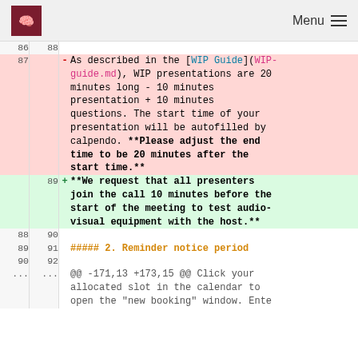Menu
| old | new | diff |
| --- | --- | --- |
| 86 | 88 |  |
| 87 |  | - As described in the [WIP Guide](WIP-guide.md), WIP presentations are 20 minutes long - 10 minutes presentation + 10 minutes questions. The start time of your presentation will be autofilled by calpendo. **Please adjust the end time to be 20 minutes after the start time.** |
|  | 89 | + **We request that all presenters join the call 10 minutes before the start of the meeting to test audio-visual equipment with the host.** |
| 88 | 90 |  |
| 89 | 91 | ##### 2. Reminder notice period |
| 90 | 92 |  |
| ... | ... | @@ -171,13 +173,15 @@ Click your allocated slot in the calendar to open the "new booking" window. Ente |